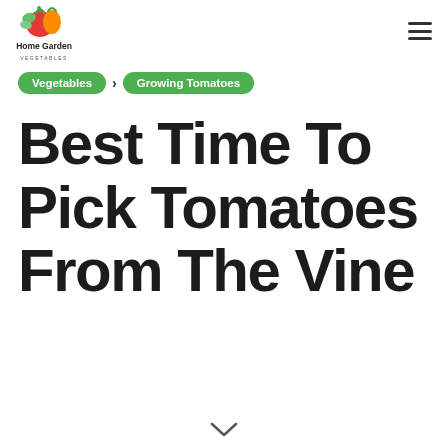Home Garden Vegetables
Vegetables > Growing Tomatoes
Best Time To Pick Tomatoes From The Vine